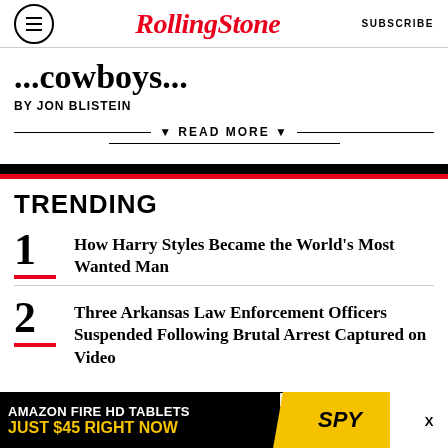RollingStone  SUBSCRIBE
...cowboys...
BY JON BLISTEIN
▼ READ MORE ▼
TRENDING
1 How Harry Styles Became the World's Most Wanted Man
2 Three Arkansas Law Enforcement Officers Suspended Following Brutal Arrest Captured on Video
[Figure (infographic): Amazon Fire HD Tablets advertisement banner: black background with white text 'AMAZON FIRE HD TABLETS', yellow text 'JUST $45 RIGHT NOW', and SPY logo on yellow background]